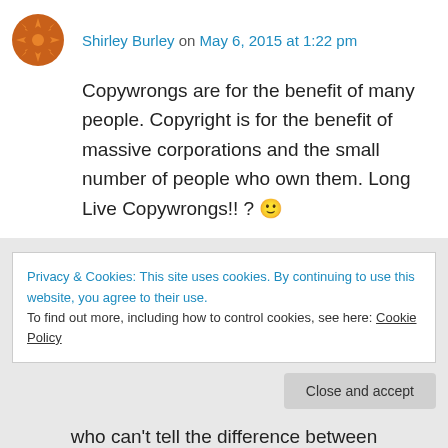Shirley Burley on May 6, 2015 at 1:22 pm
Copywrongs are for the benefit of many people. Copyright is for the benefit of massive corporations and the small number of people who own them. Long Live Copywrongs!! ? 🙂
★ Like
↳ Reply
Privacy & Cookies: This site uses cookies. By continuing to use this website, you agree to their use.
To find out more, including how to control cookies, see here: Cookie Policy
Close and accept
who can't tell the difference between